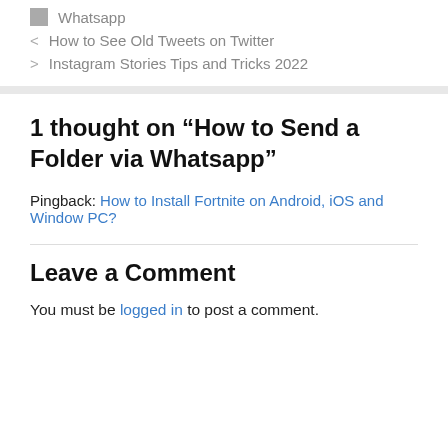Whatsapp
How to See Old Tweets on Twitter
Instagram Stories Tips and Tricks 2022
1 thought on “How to Send a Folder via Whatsapp”
Pingback: How to Install Fortnite on Android, iOS and Window PC?
Leave a Comment
You must be logged in to post a comment.